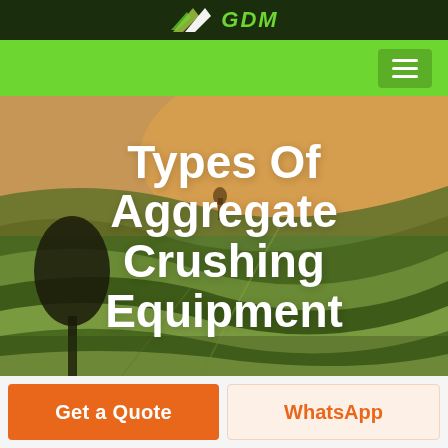GDM
[Figure (screenshot): GDM website navigation bar with green background and hamburger menu icon]
[Figure (photo): Aerial photograph of rolling agricultural fields with warm sunset lighting, showing green and brown striped terrain with a dark tree silhouette on the left]
Types Of Aggregate Crushing Equipment
Get a Quote
WhatsApp